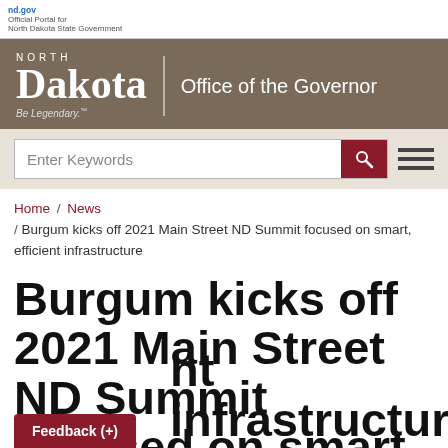nd.gov Official Portal for North Dakota State Government
[Figure (logo): North Dakota Office of the Governor logo on brown/tan banner background]
Enter Keywords
Home / News / Burgum kicks off 2021 Main Street ND Summit focused on smart, efficient infrastructure
Burgum kicks off 2021 Main Street ND Summit focused on smart, efficient infrastructure